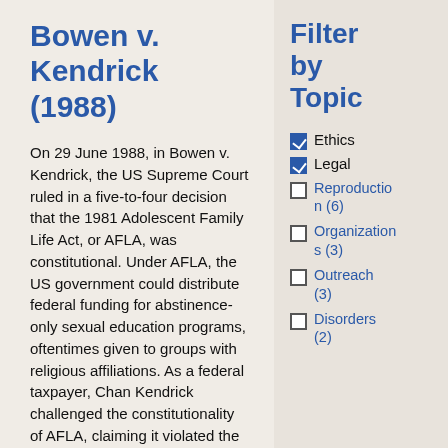Bowen v. Kendrick (1988)
On 29 June 1988, in Bowen v. Kendrick, the US Supreme Court ruled in a five-to-four decision that the 1981 Adolescent Family Life Act, or AFLA, was constitutional. Under AFLA, the US government could distribute federal funding for abstinence-only sexual education programs, oftentimes given to groups with religious affiliations. As a federal taxpayer, Chan Kendrick challenged the constitutionality of AFLA, claiming it violated the
Filter by Topic
Ethics
Legal
Reproduction (6)
Organizations (3)
Outreach (3)
Disorders (2)